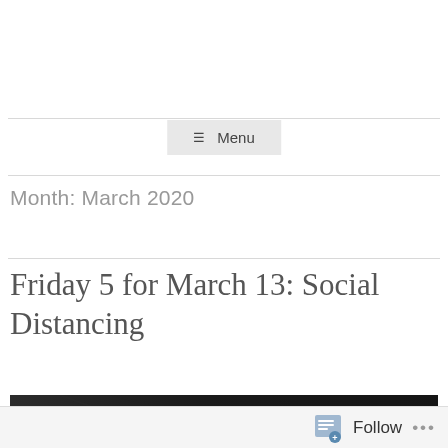≡ Menu
Month: March 2020
Friday 5 for March 13: Social Distancing
[Figure (photo): Dark background blog post featured image with text overlay showing 'friday 5' in stylized font, with phones visible on the right side]
Follow ...